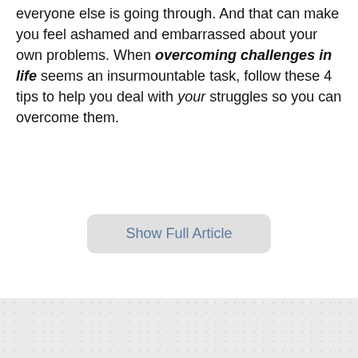everyone else is going through. And that can make you feel ashamed and embarrassed about your own problems. When overcoming challenges in life seems an insurmountable task, follow these 4 tips to help you deal with your struggles so you can overcome them.
Show Full Article